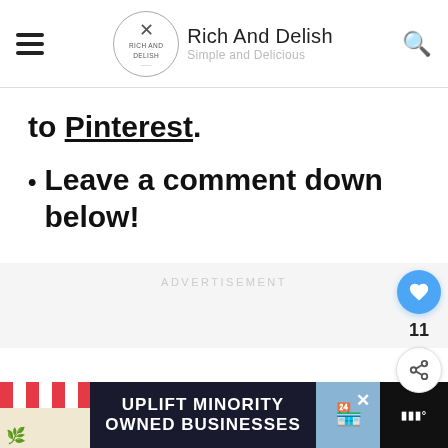Rich And Delish — Simple and Delicious
to Pinterest.
Leave a comment down below!
ADVERTISEMENT
[Figure (screenshot): Bottom banner ad: UPLIFT MINORITY OWNED BUSINESSES with store illustrations on dark background]
[Figure (infographic): Floating sidebar with heart/like button (blue circle, 11 count) and share button]